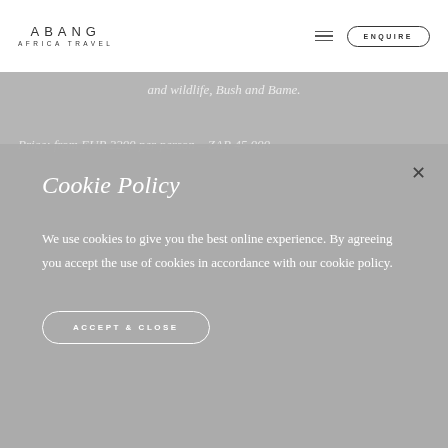ABANG AFRICA TRAVEL
and wildlife, Bush and Bame.
Price: from EUR 2200 per person – ZAR 45 000
Cookie Policy
We use cookies to give you the best online experience. By agreeing you accept the use of cookies in accordance with our cookie policy.
ACCEPT & CLOSE